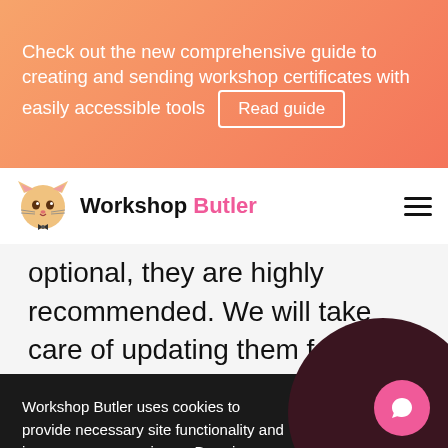Check out the new comprehensive guide to creating and sending workshop certificates with easily accessible tools Read guide
[Figure (logo): Workshop Butler logo: cartoon cat face]
Workshop Butler
optional, they are highly recommended. We will take care of updating them for you so you can always have the latest
Workshop Butler uses cookies to provide necessary site functionality and improve your experience. By using our website, you agree to our cookie policy.